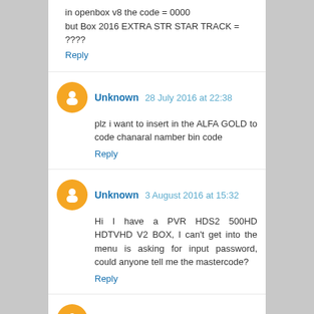in openbox v8 the code = 0000 but Box 2016 EXTRA STR STAR TRACK = ????
Reply
Unknown 28 July 2016 at 22:38
plz i want to insert in the ALFA GOLD to code chanaral namber bin code
Reply
Unknown 3 August 2016 at 15:32
Hi I have a PVR HDS2 500HD HDTVHD V2 BOX, I can't get into the menu is asking for input password, could anyone tell me the mastercode?
Reply
Unknown 2 September 2016 at 22:52
Please master code for Tlink 3oohd
Reply